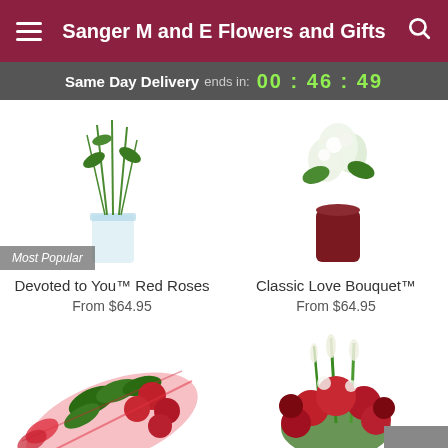Sanger M and E Flowers and Gifts
Same Day Delivery ends in: 00 : 46 : 49
[Figure (photo): Red roses in a clear vase with green stems visible, labeled Most Popular]
Devoted to You™ Red Roses
From $64.95
[Figure (photo): White and green flowers in a dark red cylindrical vase]
Classic Love Bouquet™
From $64.95
[Figure (photo): Red roses wrapped in red mesh netting lying flat]
[Figure (photo): Red flower arrangement with roses, carnations, and white flowers in a vase]